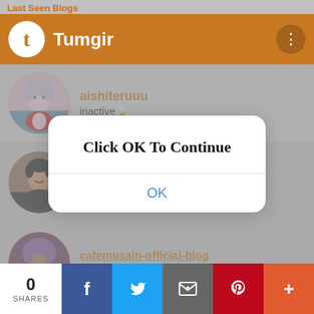Last Seen Blogs
Tumgir
aishiteruuu
inactive🍃
[Figure (screenshot): Modal dialog overlay on a mobile app (Tumgir) showing 'Click OK To Continue' with an OK button]
cafemusain-official-blog
Café Musain
0 SHARES
[Figure (infographic): Social share bar with Facebook, Twitter, Email, Pinterest, and More buttons]